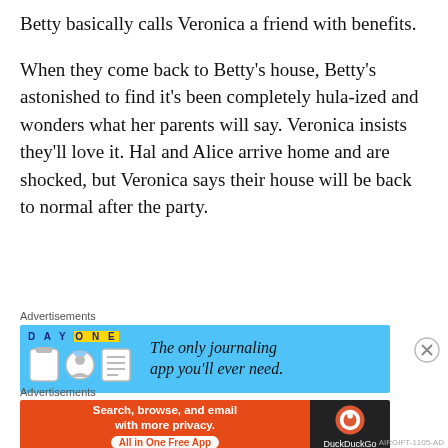Betty basically calls Veronica a friend with benefits.
When they come back to Betty's house, Betty's astonished to find it's been completely hula-ized and wonders what her parents will say. Veronica insists they'll love it. Hal and Alice arrive home and are shocked, but Veronica says their house will be back to normal after the party.
Advertisements
[Figure (screenshot): Day One journaling app advertisement on light blue background with circular icons and text 'The only journaling app you'll ever need.']
Advertisements
[Figure (screenshot): DuckDuckGo advertisement with orange background reading 'Search, browse, and email with more privacy. All in One Free App' and DuckDuckGo logo on dark background.]